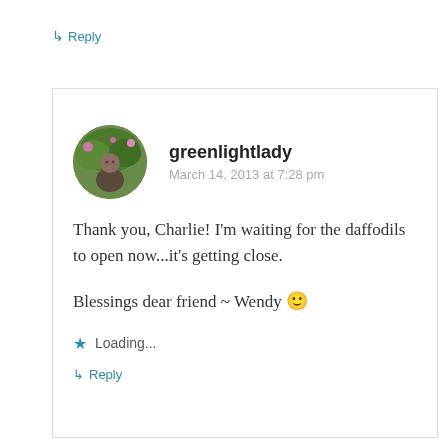↳ Reply
[Figure (photo): Circular avatar photo of a person in a garden with green foliage]
greenlightlady
March 14, 2013 at 7:28 pm
Thank you, Charlie! I'm waiting for the daffodils to open now...it's getting close.
Blessings dear friend ~ Wendy 🙂
★ Loading...
↳ Reply